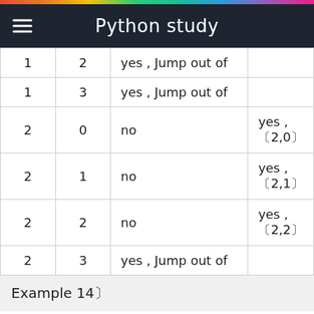Python study
|  |  |  |  |
| --- | --- | --- | --- |
| 1 | 2 | yes , Jump out of |  |
| 1 | 3 | yes , Jump out of |  |
| 2 | 0 | no | yes ,〔2,0〕 |
| 2 | 1 | no | yes ,〔2,1〕 |
| 2 | 2 | no | yes ,〔2,2〕 |
| 2 | 3 | yes , Jump out of |  |
Example 14〕
[Figure (screenshot): Python code block showing nested for loops: for i in range(3): for j in range(4): if j > i:]